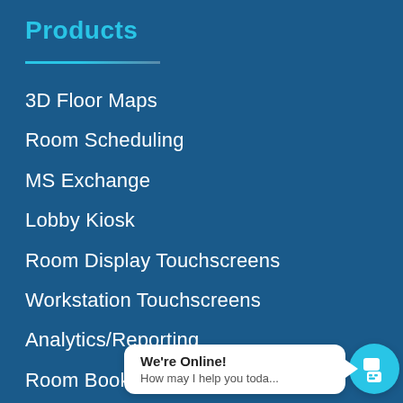Products
3D Floor Maps
Room Scheduling
MS Exchange
Lobby Kiosk
Room Display Touchscreens
Workstation Touchscreens
Analytics/Reporting
Room Booking
Support PBXs
We're Online! How may I help you toda...